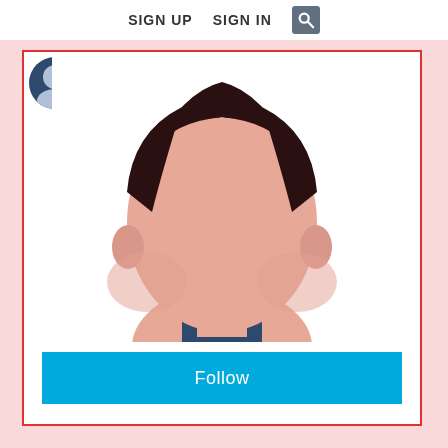SIGN UP   SIGN IN
[Figure (illustration): Flat vector illustration of a male silhouette/avatar with dark hair and skin-toned face against white background, cropped at top and bottom. A small circular profile avatar is visible at top-left corner of the card.]
Follow status updates from John Wayne
Become a follower!
Follow